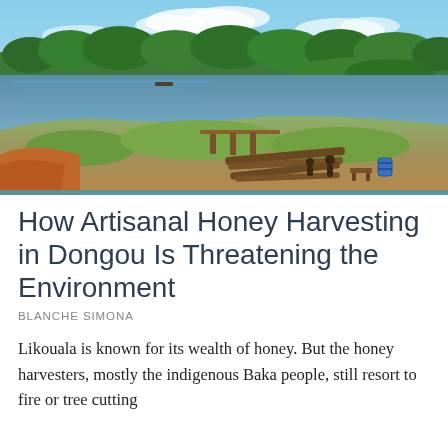[Figure (photo): Riverside scene showing a wide river with calm water reflecting the sky, green trees on the far bank, and a sandy/grassy shoreline in the foreground with logs, boats, and a blue barrel visible.]
How Artisanal Honey Harvesting in Dongou Is Threatening the Environment
BLANCHE SIMONA
Likouala is known for its wealth of honey. But the honey harvesters, mostly the indigenous Baka people, still resort to fire or tree cutting